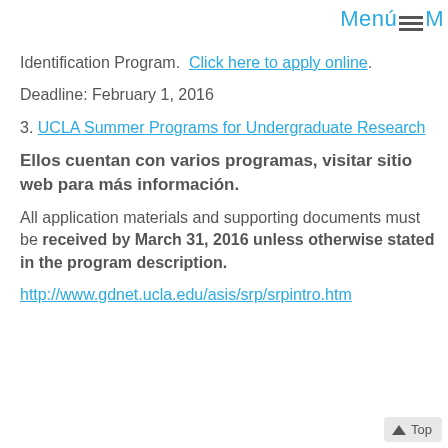MenúMenúM
Identification Program.  Click here to apply online.
Deadline: February 1, 2016
3. UCLA Summer Programs for Undergraduate Research
Ellos cuentan con varios programas, visitar sitio web para más información.
All application materials and supporting documents must be received by March 31, 2016 unless otherwise stated in the program description.
http://www.gdnet.ucla.edu/asis/srp/srpintro.htm